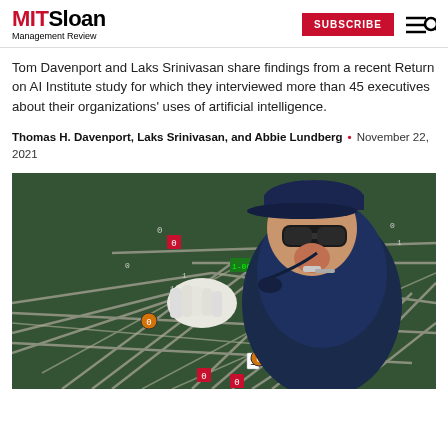MIT Sloan Management Review | SUBSCRIBE
Tom Davenport and Laks Srinivasan share findings from a recent Return on AI Institute study for which they interviewed more than 45 executives about their organizations' uses of artificial intelligence.
Thomas H. Davenport, Laks Srinivasan, and Abbie Lundberg • November 22, 2021
[Figure (illustration): Painting of a person in a dark blue jacket and cap, wearing dark goggles and a whistle, leaning over a green surface covered with a network of crossing gray lines/paths and small digital number displays (zeros and ones in red and green boxes), suggesting a railway or data switchboard operator managing an AI or digital network.]